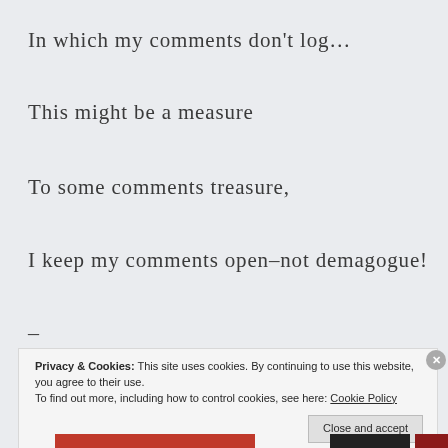In which my comments don't log…
This might be a measure
To some comments treasure,
I keep my comments open–not demagogue!
–
Privacy & Cookies: This site uses cookies. By continuing to use this website, you agree to their use.
To find out more, including how to control cookies, see here: Cookie Policy
Close and accept